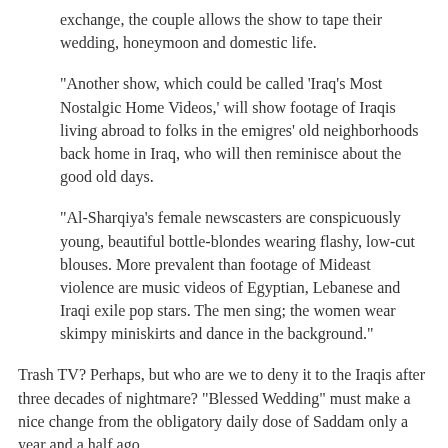exchange, the couple allows the show to tape their wedding, honeymoon and domestic life.
"Another show, which could be called 'Iraq's Most Nostalgic Home Videos,' will show footage of Iraqis living abroad to folks in the emigres' old neighborhoods back home in Iraq, who will then reminisce about the good old days.
"Al-Sharqiya's female newscasters are conspicuously young, beautiful bottle-blondes wearing flashy, low-cut blouses. More prevalent than footage of Mideast violence are music videos of Egyptian, Lebanese and Iraqi exile pop stars. The men sing; the women wear skimpy miniskirts and dance in the background."
Trash TV? Perhaps, but who are we to deny it to the Iraqis after three decades of nightmare? "Blessed Wedding" must make a nice change from the obligatory daily dose of Saddam only a year and a half ago.
Meanwhile, a satellite TV channel, Al Fayhaa, has started